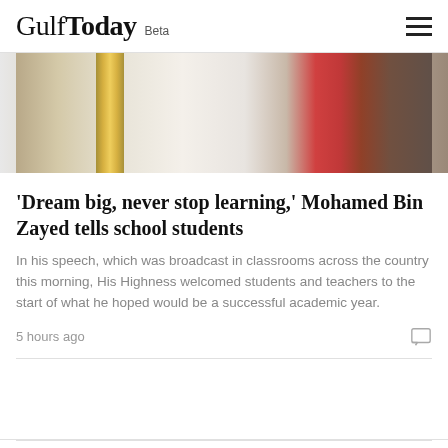Gulf Today Beta
[Figure (photo): Close-up photo showing white robes with a gold sash/decoration and a red element in the background, likely showing a dignitary or official.]
'Dream big, never stop learning,' Mohamed Bin Zayed tells school students
In his speech, which was broadcast in classrooms across the country this morning, His Highness welcomed students and teachers to the start of what he hoped would be a successful academic year.
5 hours ago